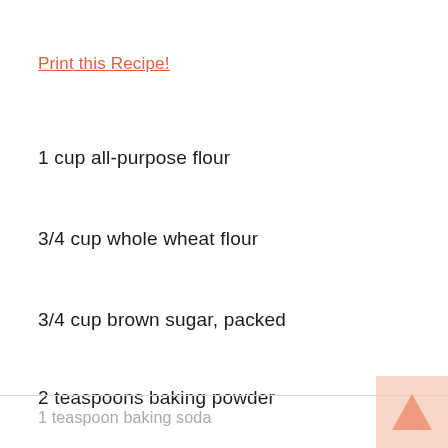Print this Recipe!
1 cup all-purpose flour
3/4 cup whole wheat flour
3/4 cup brown sugar, packed
2 teaspoons baking powder
1 teaspoon baking soda